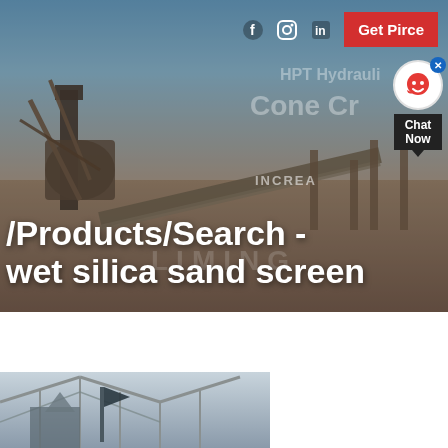[Figure (photo): Industrial mining/crushing plant with conveyor belts and large machinery set against a blue sky, with watermark text LIMING]
/Products/Search - wet silica sand screen
[Figure (photo): Interior of industrial facility showing structural steel trusses and equipment, partial view at bottom of page]